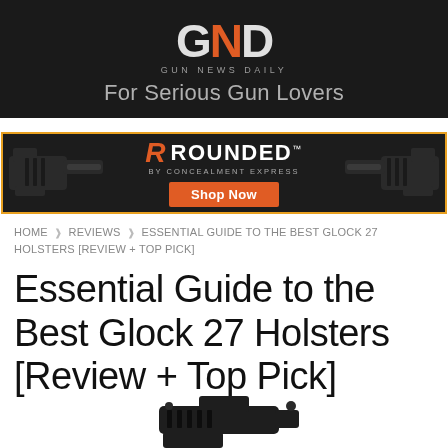GND Gun News Daily — For Serious Gun Lovers
[Figure (illustration): Rounded by Concealment Express advertisement banner showing two gun holster images on either side with the Rounded logo, tagline 'by Concealment Express', and an orange 'Shop Now' button in the center. Orange border around the ad.]
HOME ❱ REVIEWS ❱ ESSENTIAL GUIDE TO THE BEST GLOCK 27 HOLSTERS [REVIEW + TOP PICK]
Essential Guide to the Best Glock 27 Holsters [Review + Top Pick]
[Figure (photo): Partial image of a Glock 27 handgun (black), cropped at bottom of page]